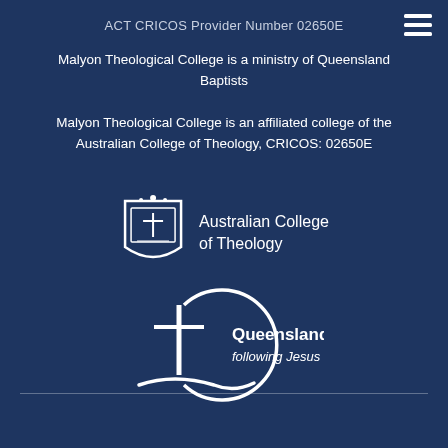ACT CRICOS Provider Number 02650E
Malyon Theological College is a ministry of Queensland Baptists
Malyon Theological College is an affiliated college of the Australian College of Theology, CRICOS: 02650E
[Figure (logo): Australian College of Theology logo with crest and text]
[Figure (logo): Queensland Baptists logo with cross in circle and tagline 'following Jesus']